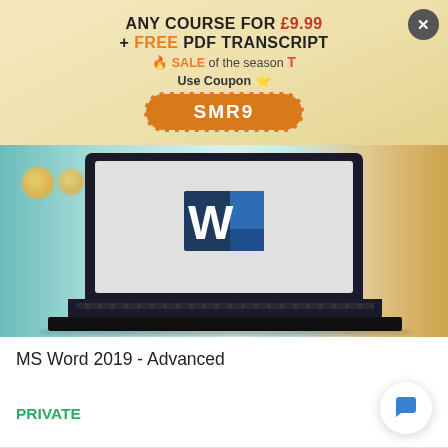ANY COURSE FOR £9.99 + FREE PDF TRANSCRIPT 🔥 SALE of the season T
Use Coupon ⭐
SMR9
[Figure (photo): Laptop computer displaying Microsoft Word 2019 logo on screen, with blurred teal/orange background]
MS Word 2019 - Advanced
PRIVATE